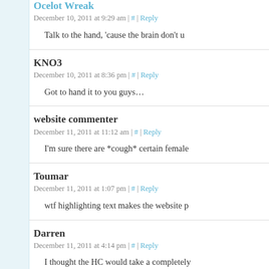Ocelot Wreak — December 10, 2011 at 9:29 am | # | Reply — Talk to the hand, 'cause the brain don't u
KNO3 — December 10, 2011 at 8:36 pm | # | Reply — Got to hand it to you guys…
website commenter — December 11, 2011 at 11:12 am | # | Reply — I'm sure there are *cough* certain female
Toumar — December 11, 2011 at 1:07 pm | # | Reply — wtf highlighting text makes the website p
Darren — December 11, 2011 at 4:14 pm | # | Reply — I thought the HC would take a completely
Colonel Doofus — December 12, 2011 at 3:40 am | # | Reply